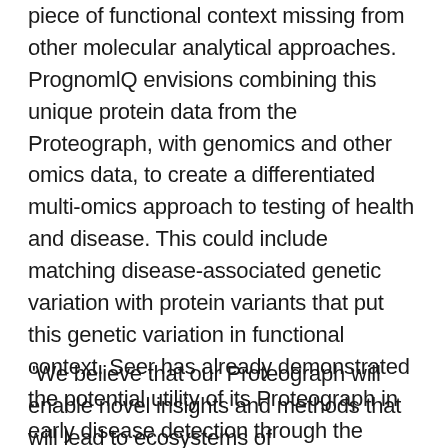piece of functional context missing from other molecular analytical approaches. PrognomlQ envisions combining this unique protein data from the Proteograph, with genomics and other omics data, to create a differentiated multi-omics approach to testing of health and disease. This could include matching disease-associated genetic variation with protein variants that put this genetic variation in functional context. Seer has already demonstrated the potential utility of its Proteograph in early disease detection through the proof-of-concept data on non-small cell lung cancer, which was included in a recent publication in Nature Communications.
"We believe that our Proteograph will enable novel insights and methods that will lead to ecosystems of